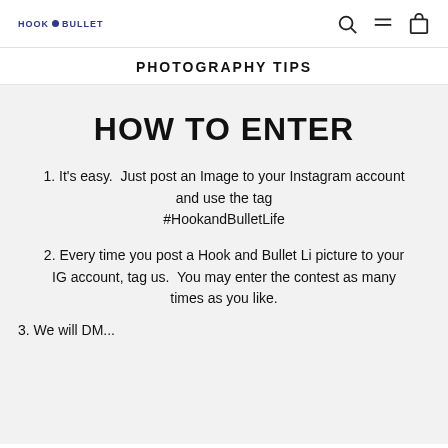HOOK BULLET — navigation icons (search, menu, cart)
PHOTOGRAPHY TIPS
HOW TO ENTER
1. It's easy.  Just post an Image to your Instagram account and use the tag #HookandBulletLife
2. Every time you post a Hook and Bullet Li picture to your IG account, tag us.  You may enter the contest as many times as you like.
3. We will DM...